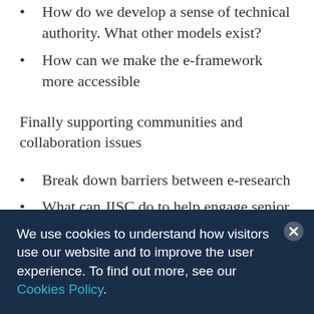How do we develop a sense of technical authority. What other models exist?
How can we make the e-framework more accessible
Finally supporting communities and collaboration issues
Break down barriers between e-research
What can JISC do to help engage senior managers
Sustainability and business models
We use cookies to understand how visitors use our website and to improve the user experience. To find out more, see our Cookies Policy.